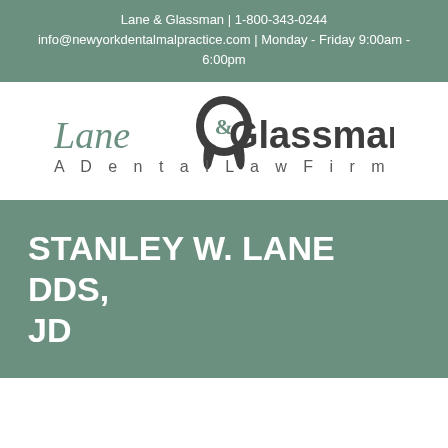Lane & Glassman | 1-800-343-0244
info@newyorkdentalmalpractice.com | Monday - Friday 9:00am - 6:00pm
[Figure (logo): Lane & Glassman A Dental Law Firm logo with tooth icon]
STANLEY W. LANE DDS, JD
STANLE...